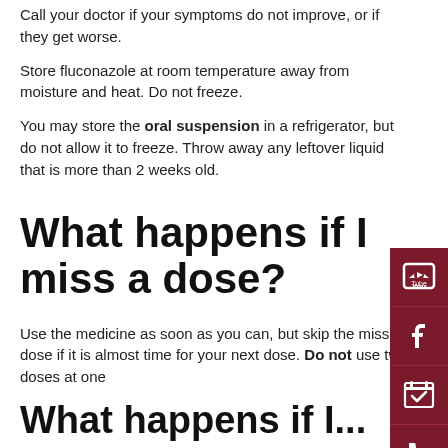Call your doctor if your symptoms do not improve, or if they get worse.
Store fluconazole at room temperature away from moisture and heat. Do not freeze.
You may store the oral suspension in a refrigerator, but do not allow it to freeze. Throw away any leftover liquid that is more than 2 weeks old.
What happens if I miss a dose?
Use the medicine as soon as you can, but skip the missed dose if it is almost time for your next dose. Do not use two doses at one time.
What happens if I...